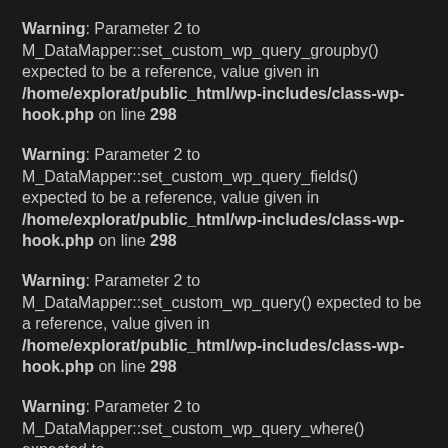Warning: Parameter 2 to M_DataMapper::set_custom_wp_query_groupby() expected to be a reference, value given in /home/explorat/public_html/wp-includes/class-wp-hook.php on line 298
Warning: Parameter 2 to M_DataMapper::set_custom_wp_query_fields() expected to be a reference, value given in /home/explorat/public_html/wp-includes/class-wp-hook.php on line 298
Warning: Parameter 2 to M_DataMapper::set_custom_wp_query() expected to be a reference, value given in /home/explorat/public_html/wp-includes/class-wp-hook.php on line 298
Warning: Parameter 2 to M_DataMapper::set_custom_wp_query_where() expected to be a reference, value given in /home/explorat/public_html/wp-includes/class-wp-hook.php on line 298